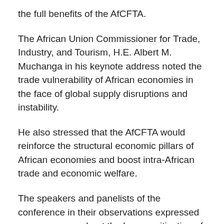the full benefits of the AfCFTA.
The African Union Commissioner for Trade, Industry, and Tourism, H.E. Albert M. Muchanga in his keynote address noted the trade vulnerability of African economies in the face of global supply disruptions and instability.
He also stressed that the AfCFTA would reinforce the structural economic pillars of African economies and boost intra-African trade and economic welfare.
The speakers and panelists of the conference in their observations expressed grave concern about the low sensitisation of the business community about the framework, procedures, and scope of the PAPSS, the financial payment and settlement system for the